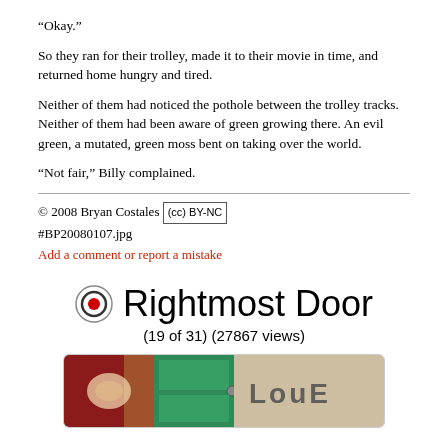"Okay."
So they ran for their trolley, made it to their movie in time, and returned home hungry and tired.
Neither of them had noticed the pothole between the trolley tracks. Neither of them had been aware of green growing there. An evil green, a mutated, green moss bent on taking over the world.
"Not fair," Billy complained.
© 2008 Bryan Costales [cc] BY-NC
#BP20080107.jpg
Add a comment or report a mistake
Rightmost Door
(19 of 31) (27867 views)
[Figure (photo): A photograph showing a colorful painted door with 'LOVE' written on it]